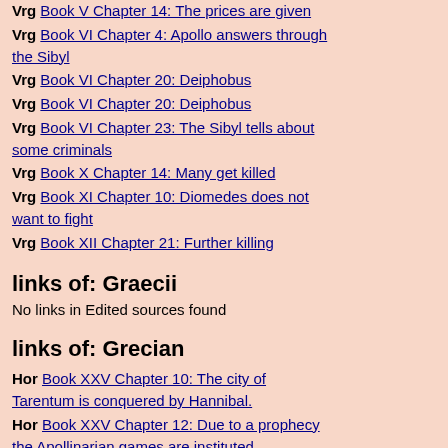Vrg Book V Chapter 14: The prices are given
Vrg Book VI Chapter 4: Apollo answers through the Sibyl
Vrg Book VI Chapter 20: Deiphobus
Vrg Book VI Chapter 20: Deiphobus
Vrg Book VI Chapter 23: The Sibyl tells about some criminals
Vrg Book X Chapter 14: Many get killed
Vrg Book XI Chapter 10: Diomedes does not want to fight
Vrg Book XII Chapter 21: Further killing
links of: Graecii
No links in Edited sources found
links of: Grecian
Hor Book XXV Chapter 10: The city of Tarentum is conquered by Hannibal.
Hor Book XXV Chapter 12: Due to a prophecy the Apollinarian games are instituted.
Hor Book XXV Chapter 29: A speech is delivered. Deserters create havoc.